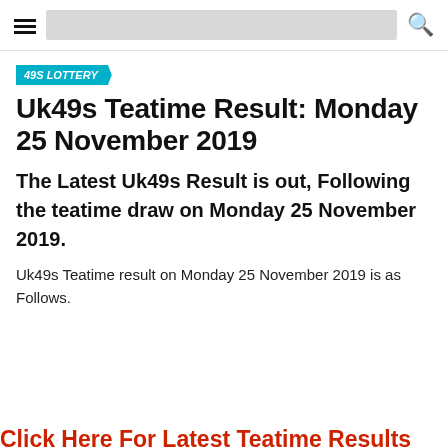49S LOTTERY
Uk49s Teatime Result: Monday 25 November 2019
The Latest Uk49s Result is out, Following the teatime draw on Monday 25 November 2019.
Uk49s Teatime result on Monday 25 November 2019 is as Follows.
Click Here For Latest Teatime Results